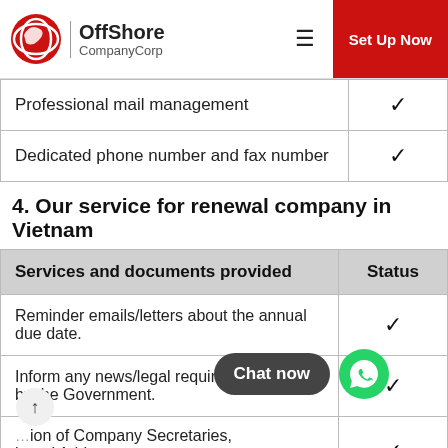[Figure (logo): OffShore CompanyCorp logo with red globe/hand icon]
| Services and documents provided | Status |
| --- | --- |
| Professional mail management | ✓ |
| Dedicated phone number and fax number | ✓ |
4. Our service for renewal company in Vietnam
| Services and documents provided | Status |
| --- | --- |
| Reminder emails/letters about the annual due date. | ✓ |
| Inform any news/legal requirements asked by the Government. | ✓ |
| ...ion of Company Secretaries, ...tered Address. | ✓ |